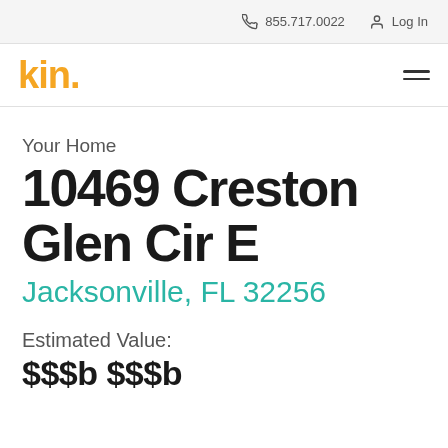855.717.0022   Log In
kin.
Your Home
10469 Creston Glen Cir E
Jacksonville, FL 32256
Estimated Value:
$$$b  $$$b